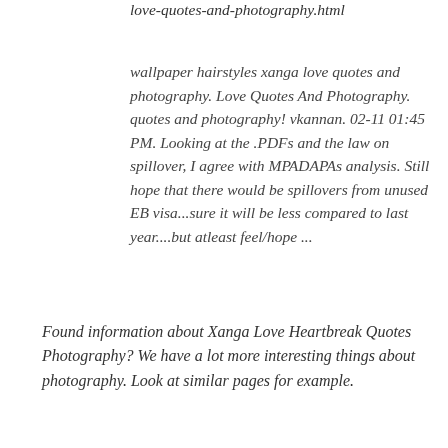love-quotes-and-photography.html
wallpaper hairstyles xanga love quotes and photography. Love Quotes And Photography. quotes and photography! vkannan. 02-11 01:45 PM. Looking at the .PDFs and the law on spillover, I agree with MPADAPAs analysis. Still hope that there would be spillovers from unused EB visa...sure it will be less compared to last year....but atleast feel/hope ...
Found information about Xanga Love Heartbreak Quotes Photography? We have a lot more interesting things about photography. Look at similar pages for example.